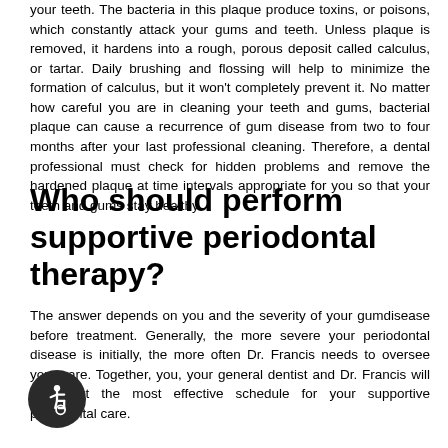your teeth. The bacteria in this plaque produce toxins, or poisons, which constantly attack your gums and teeth. Unless plaque is removed, it hardens into a rough, porous deposit called calculus, or tartar. Daily brushing and flossing will help to minimize the formation of calculus, but it won't completely prevent it. No matter how careful you are in cleaning your teeth and gums, bacterial plaque can cause a recurrence of gum disease from two to four months after your last professional cleaning. Therefore, a dental professional must check for hidden problems and remove the hardened plaque at time intervals appropriate for you so that your teeth and gums stay healthy.
Who should perform supportive periodontal therapy?
The answer depends on you and the severity of your gumdisease before treatment. Generally, the more severe your periodontal disease is initially, the more often Dr. Francis needs to oversee your care. Together, you, your general dentist and Dr. Francis will work out the most effective schedule for your supportive periodontal care.